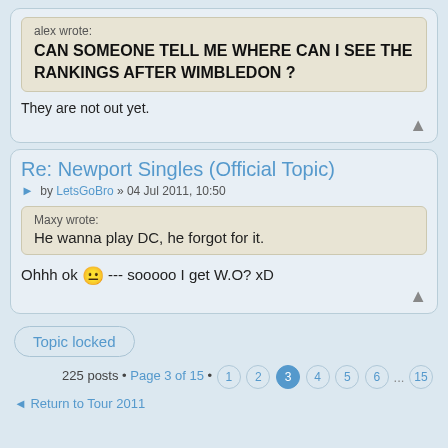alex wrote: CAN SOMEONE TELL ME WHERE CAN I SEE THE RANKINGS AFTER WIMBLEDON ?
They are not out yet.
Re: Newport Singles (Official Topic)
by LetsGoBro » 04 Jul 2011, 10:50
Maxy wrote: He wanna play DC, he forgot for it.
Ohhh ok 😐 --- sooooo I get W.O? xD
Topic locked
225 posts • Page 3 of 15 • 1 2 3 4 5 6 ... 15
◄ Return to Tour 2011